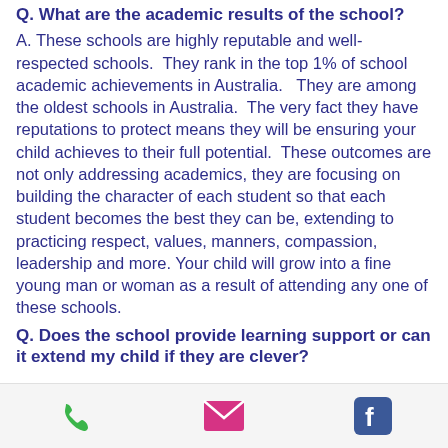Q. What are the academic results of the school?
A. These schools are highly reputable and well-respected schools.  They rank in the top 1% of school academic achievements in Australia.   They are among the oldest schools in Australia.  The very fact they have reputations to protect means they will be ensuring your child achieves to their full potential.  These outcomes are not only addressing academics, they are focusing on building the character of each student so that each student becomes the best they can be, extending to practicing respect, values, manners, compassion, leadership and more. Your child will grow into a fine young man or woman as a result of attending any one of these schools.
Q. Does the school provide learning support or can it extend my child if they are clever?
[Figure (other): Mobile app footer bar with three icons: green phone icon, pink/magenta envelope icon, blue Facebook icon]